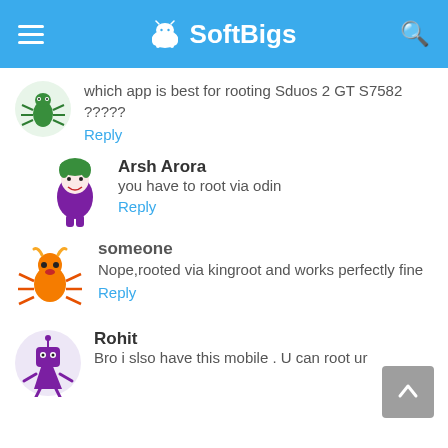SoftBigs
which app is best for rooting Sduos 2 GT S7582 ?????
Reply
Arsh Arora
you have to root via odin
Reply
someone
Nope,rooted via kingroot and works perfectly fine
Reply
Rohit
Bro i slso have this mobile . U can root ur